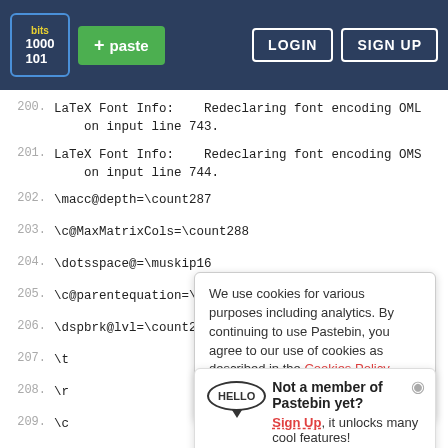Pastebin navigation bar with logo, +paste button, LOGIN and SIGN UP buttons
200. LaTeX Font Info:    Redeclaring font encoding OML on input line 743.
201. LaTeX Font Info:    Redeclaring font encoding OMS on input line 744.
202. \macc@depth=\count287
203. \c@MaxMatrixCols=\count288
204. \dotsspace@=\muskip16
205. \c@parentequation=\count289
206. \dspbrk@lvl=\count290
207. \t
208. \r
209. \c
210. \m
211. \a
212. \e
213. \a
214. \tagshift@=\dimen161
Cookie banner: We use cookies for various purposes including analytics. By continuing to use Pastebin, you agree to our use of cookies as described in the Cookies Policy. OK, I Understand
Sign up popup: Not a member of Pastebin yet? Sign Up, it unlocks many cool features!